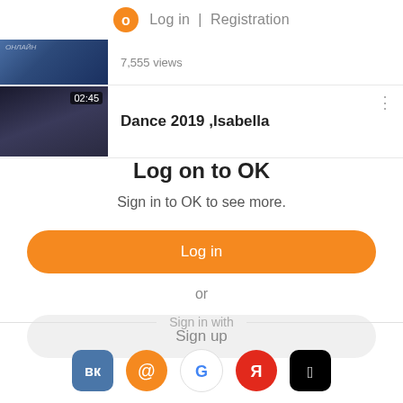Log in | Registration
[Figure (screenshot): Partially visible video thumbnail with text '7,555 views']
[Figure (screenshot): Video thumbnail showing '02:45' timestamp for 'Dance 2019 ,Isabella']
Dance 2019 ,Isabella
Log on to OK
Sign in to OK to see more.
Log in
or
Sign up
Sign in with
[Figure (screenshot): Social login icons: VK (blue), Mail.ru (orange @), Google (G), Yandex (Я), Apple (black apple)]